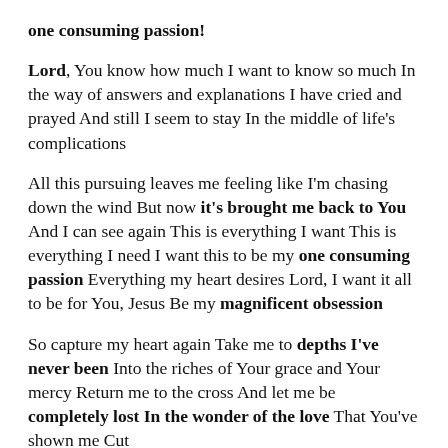one consuming passion!
Lord, You know how much I want to know so much In the way of answers and explanations I have cried and prayed And still I seem to stay In the middle of life's complications
All this pursuing leaves me feeling like I'm chasing down the wind But now it's brought me back to You And I can see again This is everything I want This is everything I need I want this to be my one consuming passion Everything my heart desires Lord, I want it all to be for You, Jesus Be my magnificent obsession
So capture my heart again Take me to depths I've never been Into the riches of Your grace and Your mercy Return me to the cross And let me be completely lost In the wonder of the love That You've shown me Cut